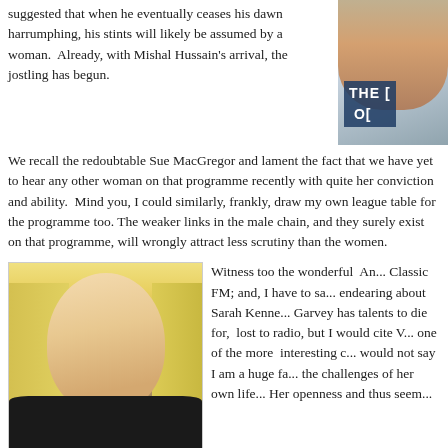suggested that when he eventually ceases his dawn harrumphing, his stints will likely be assumed by a woman.  Already, with Mishal Hussain's arrival, the jostling has begun.
[Figure (photo): Partial photo of a person with text overlay 'THE [...]' visible, blue/grey tones]
We recall the redoubtable Sue MacGregor and lament the fact that we have yet to hear any other woman on that programme recently with quite her conviction and ability.  Mind you, I could similarly, frankly, draw my own league table for the programme too. The weaker links in the male chain, and they surely exist on that programme, will wrongly attract less scrutiny than the women.
[Figure (photo): Photo of a blonde woman smiling, wearing a dark top]
Witness too the wonderful  An... Classic FM; and, I have to sa... endearing about Sarah Kenne... Garvey has talents to die for,  lost to radio, but I would cite V... one of the more  interesting c... would not say I am a huge fa... the challenges of her own life... Her openness and thus seem... listener feel that they know her.  Caroline Martin at BBC WM also sh... and it's a huge asset for both sexes.  Too rarely do you hear women... the air.  Too many pretend to be men; and that's a shame.